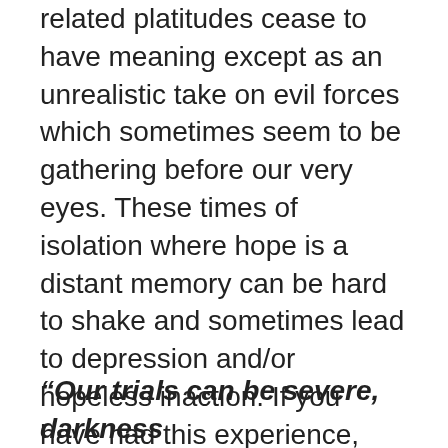related platitudes cease to have meaning except as an unrealistic take on evil forces which sometimes seem to be gathering before our very eyes. These times of isolation where hope is a distant memory can be hard to shake and sometimes lead to depression and/or hopeless inaction. If you have had this experience, perhaps you might consider a meditation on the Rune Eihwaz. I pulled this rune for my morning meditation which was aided by Richard's presence and voice leading the meditation, intoning “Yggdrasil” which is the companion to Eihwaz. Gotta say, I feel a lot better now.
“Our trials can be severe, darkness